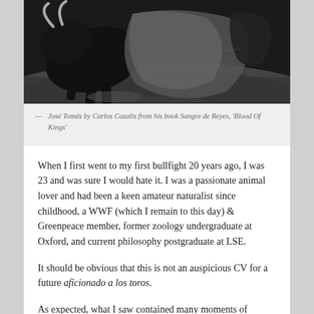[Figure (photo): Black and white photograph of José Tomás, a bullfighter, in action with a cape during a bullfight.]
— José Tomás by Carlos Cazalis from his book Sangre de Reyes, 'Blood Of Kings'
When I first went to my first bullfight 20 years ago, I was 23 and was sure I would hate it. I was a passionate animal lover and had been a keen amateur naturalist since childhood, a WWF (which I remain to this day) & Greenpeace member, former zoology undergraduate at Oxford, and current philosophy postgraduate at LSE.
It should be obvious that this is not an auspicious CV for a future aficionado a los toros.
As expected, what I saw contained many moments of